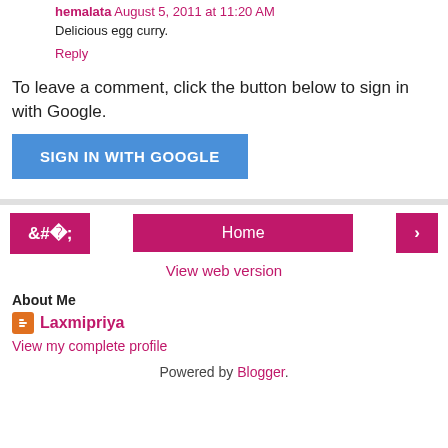hemalata August 5, 2011 at 11:20 AM
Delicious egg curry.
Reply
To leave a comment, click the button below to sign in with Google.
[Figure (other): Blue 'SIGN IN WITH GOOGLE' button]
[Figure (other): Navigation bar with left arrow, Home button, and right arrow, pink/magenta colored]
View web version
About Me
Laxmipriya
View my complete profile
Powered by Blogger.